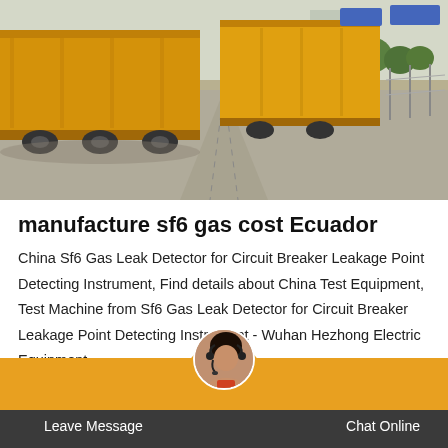[Figure (photo): Outdoor road scene with yellow freight trucks/trailers parked along a road, trees and buildings visible in the background under a bright sky.]
manufacture sf6 gas cost Ecuador
China Sf6 Gas Leak Detector for Circuit Breaker Leakage Point Detecting Instrument, Find details about China Test Equipment, Test Machine from Sf6 Gas Leak Detector for Circuit Breaker Leakage Point Detecting Instrument - Wuhan Hezhong Electric Equipment
Leave Message   Contact   Chat Online